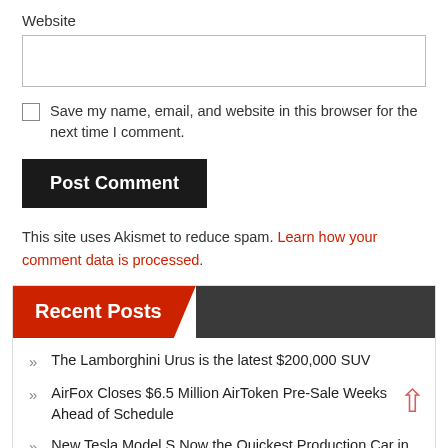Website
Save my name, email, and website in this browser for the next time I comment.
Post Comment
This site uses Akismet to reduce spam. Learn how your comment data is processed.
Recent Posts
The Lamborghini Urus is the latest $200,000 SUV
AirFox Closes $6.5 Million AirToken Pre-Sale Weeks Ahead of Schedule
New Tesla Model S Now the Quickest Production Car in the World